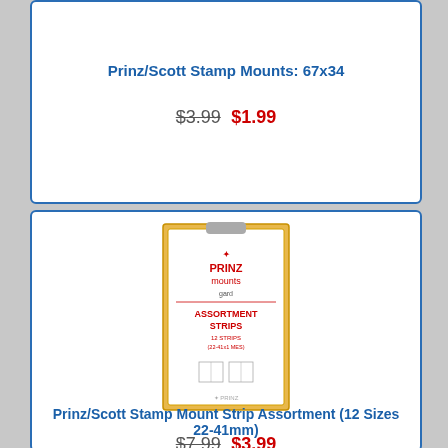Prinz/Scott Stamp Mounts: 67x34
$3.99 $1.99
[Figure (photo): A package of Prinz mounts assortment strips with yellow border on white background]
Prinz/Scott Stamp Mount Strip Assortment (12 Sizes 22-41mm)
$7.99 $3.99